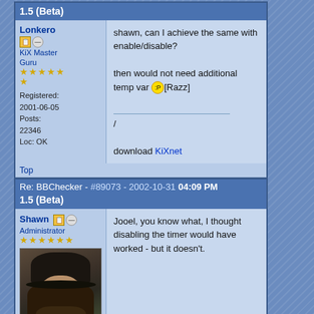1.5 (Beta)
shawn, can I achieve the same with enable/disable?

then would not need additional temp var [Razz]

/

download KiXnet
Registered: 2001-06-05
Posts: 22346
Loc: OK
Top
Re: BBChecker - #89073 - 2002-10-31 04:09 PM 1.5 (Beta)
Jooel, you know what, I thought disabling the timer would have worked - but it doesn't.
Registered: 1999-08-13
Posts: 8611
Top